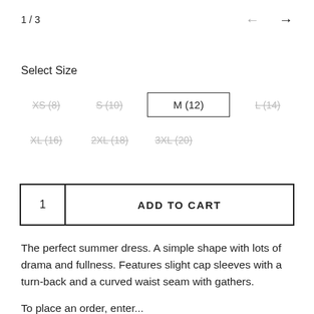1 / 3
Select Size
XS (8)  S (10)  M (12)  L (14)  XL (16)  2XL (18)  3XL (20)
| 1 | ADD TO CART |
| --- | --- |
The perfect summer dress. A simple shape with lots of drama and fullness. Features slight cap sleeves with a turn-back and a curved waist seam with gathers.
To place an order, enter...